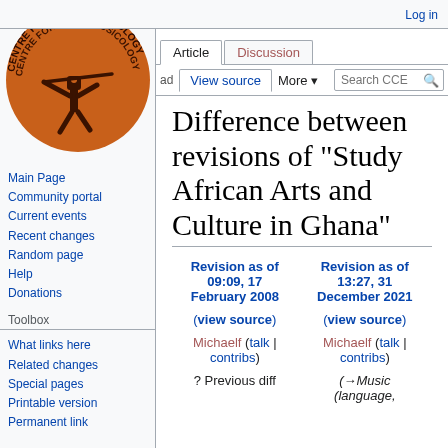Log in
[Figure (logo): Centre for Ethnomusicology circular orange logo with African figure playing instrument]
Main Page
Community portal
Current events
Recent changes
Random page
Help
Donations
Toolbox
What links here
Related changes
Special pages
Printable version
Permanent link
Difference between revisions of "Study African Arts and Culture in Ghana"
| Revision as of 09:09, 17 February 2008 | Revision as of 13:27, 31 December 2021 |
| --- | --- |
| (view source) | (view source) |
| Michaelf (talk | contribs) | Michaelf (talk | contribs) |
| ? Previous diff | (→Music (language, |